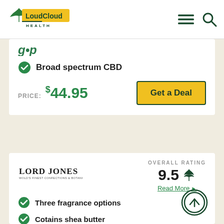LoudCloud Health
Broad spectrum CBD
PRICE: $44.95  Get a Deal
LORD JONES — OVERALL RATING 9.5
Read More
Three fragrance options
Cotains shea butter
Full and broad spectrum CBD